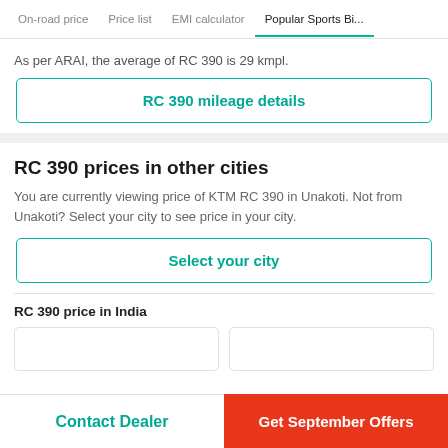On-road price   Price list   EMI calculator   Popular Sports Bi...
As per ARAI, the average of RC 390 is 29 kmpl.
RC 390 mileage details
RC 390 prices in other cities
You are currently viewing price of KTM RC 390 in Unakoti. Not from Unakoti? Select your city to see price in your city.
Select your city
RC 390 price in India
Contact Dealer   Get September Offers